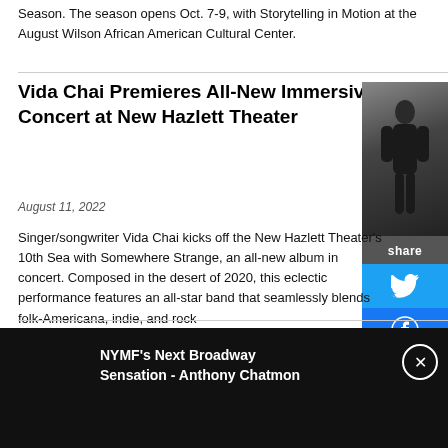Season. The season opens Oct. 7-9, with Storytelling in Motion at the August Wilson African American Cultural Center.
Vida Chai Premieres All-New Immersive Concert at New Hazlett Theater
August 11, 2022
[Figure (photo): Dark silhouette photo of a performer on stage]
Singer/songwriter Vida Chai kicks off the New Hazlett Theater's 10th Season with Somewhere Strange, an all-new album in concert. Composed in the desert of 2020, this eclectic performance features an all-star band that seamlessly blends folk-Americana, indie, and rock
NYMF's Next Broadway Sensation - Anthony Chatmon